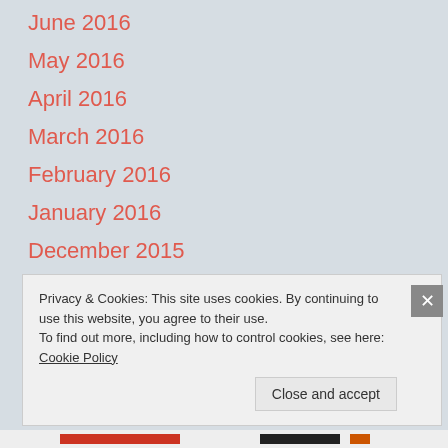June 2016
May 2016
April 2016
March 2016
February 2016
January 2016
December 2015
November 2015
Privacy & Cookies: This site uses cookies. By continuing to use this website, you agree to their use.
To find out more, including how to control cookies, see here: Cookie Policy
Close and accept